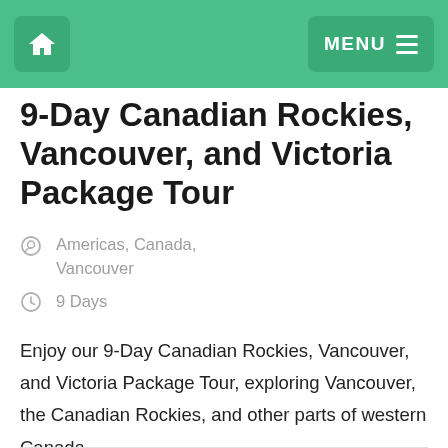MENU
9-Day Canadian Rockies, Vancouver, and Victoria Package Tour
Americas, Canada, Vancouver
9 Days
Enjoy our 9-Day Canadian Rockies, Vancouver, and Victoria Package Tour, exploring Vancouver, the Canadian Rockies, and other parts of western Canada.